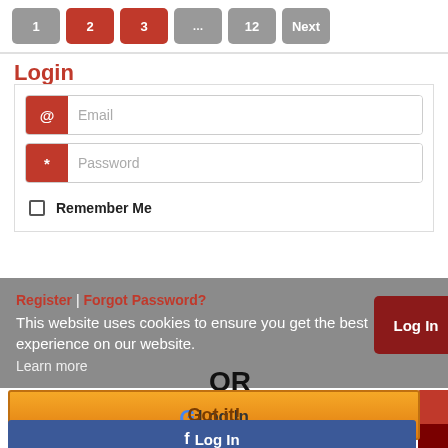[Figure (screenshot): Pagination bar with buttons: 1 (gray), 2 (red), 3 (red), ... (gray), 12 (gray), Next (gray)]
Login
[Figure (screenshot): Login form with Email input field with @ icon, Password input field with * icon]
Remember Me
Register | Forgot Password?
This website uses cookies to ensure you get the best experience on our website.
Learn more
OR
[Figure (screenshot): Got it button (orange) overlapping with Google Log In button]
[Figure (screenshot): Facebook Log In button (dark blue)]